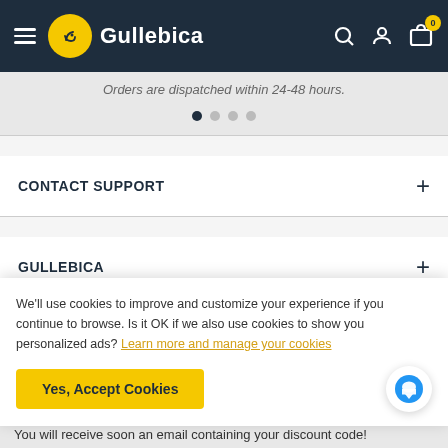Gullebica — navigation bar with hamburger menu, logo, search, account, and cart icons
Orders are dispatched within 24-48 hours.
CONTACT SUPPORT
GULLEBICA
POLICIES
We'll use cookies to improve and customize your experience if you continue to browse. Is it OK if we also use cookies to show you personalized ads? Learn more and manage your cookies
Yes, Accept Cookies
You will receive soon an email containing your discount code!